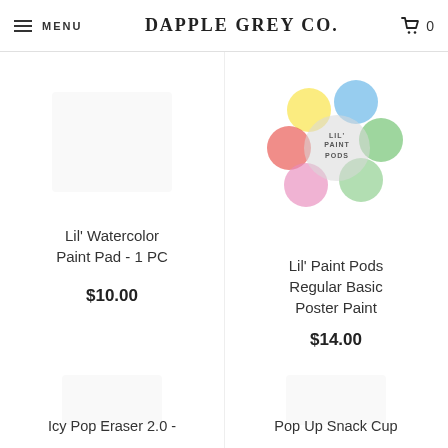MENU | DAPPLE GREY CO. | 0
[Figure (other): Lil' Watercolor Paint Pad product image placeholder (white/empty)]
Lil' Watercolor Paint Pad - 1 PC
$10.00
[Figure (logo): Lil' Paint Pods logo with colorful circles (yellow, blue, red, pink, green) and text 'LIL' PAINT PODS']
Lil' Paint Pods Regular Basic Poster Paint
$14.00
[Figure (other): Icy Pop Eraser 2.0 product image placeholder (white/empty)]
Icy Pop Eraser 2.0 -
[Figure (other): Pop Up Snack Cup product image placeholder (white/empty)]
Pop Up Snack Cup